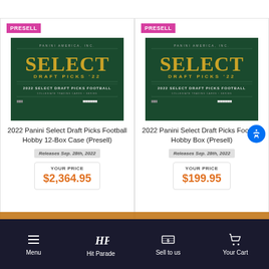[Figure (screenshot): Product listing page showing two presell trading card products side by side]
PRESELL
[Figure (photo): 2022 Panini Select Draft Picks Football box art on dark green background with gold SELECT lettering]
2022 Panini Select Draft Picks Football Hobby 12-Box Case (Presell)
Releases Sep. 28th, 2022
YOUR PRICE
$2,364.95
PRESELL
[Figure (photo): 2022 Panini Select Draft Picks Football box art on dark green background with gold SELECT lettering]
2022 Panini Select Draft Picks Football Hobby Box (Presell)
Releases Sep. 28th, 2022
YOUR PRICE
$199.95
Menu  Hit Parade  Sell to us  Your Cart